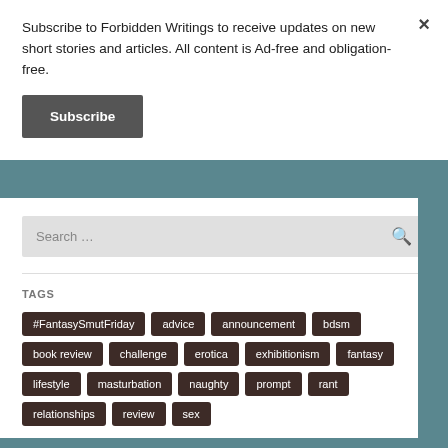Subscribe to Forbidden Writings to receive updates on new short stories and articles. All content is Ad-free and obligation-free.
Subscribe
Search …
TAGS
#FantasySmutFriday
advice
announcement
bdsm
book review
challenge
erotica
exhibitionism
fantasy
lifestyle
masturbation
naughty
prompt
rant
relationships
review
sex